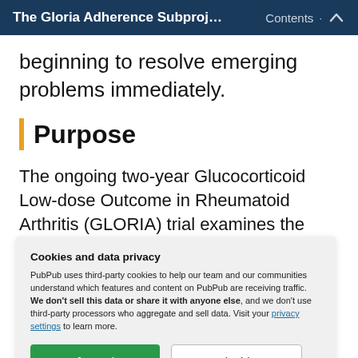The Gloria Adherence Subprojec… Contents ↑
beginning to resolve emerging problems immediately.
Purpose
The ongoing two-year Glucocorticoid Low-dose Outcome in Rheumatoid Arthritis (GLORIA) trial examines the
Cookies and data privacy
PubPub uses third-party cookies to help our team and our communities understand which features and content on PubPub are receiving traffic. We don't sell this data or share it with anyone else, and we don't use third-party processors who aggregate and sell data. Visit your privacy settings to learn more.
[Accept] [Disable]
ll...